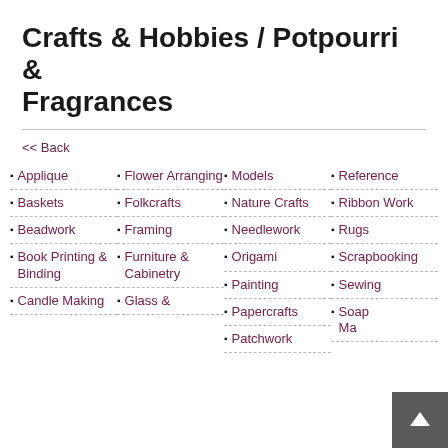Crafts & Hobbies / Potpourri & Fragrances
<< Back
Applique
Baskets
Beadwork
Book Printing & Binding
Candle Making
Flower Arranging
Folkcrafts
Framing
Furniture & Cabinetry
Glass &
Models
Nature Crafts
Needlework
Origami
Painting
Papercrafts
Patchwork
Reference
Ribbon Work
Rugs
Scrapbooking
Sewing
Soap Making